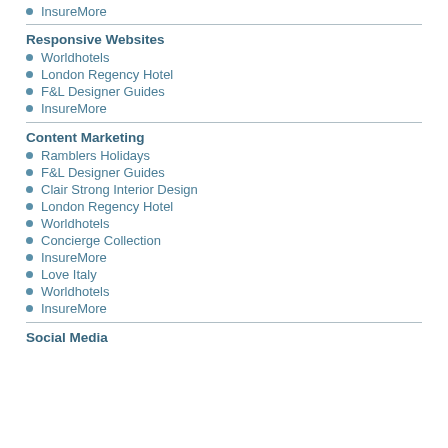InsureMore
Responsive Websites
Worldhotels
London Regency Hotel
F&L Designer Guides
InsureMore
Content Marketing
Ramblers Holidays
F&L Designer Guides
Clair Strong Interior Design
London Regency Hotel
Worldhotels
Concierge Collection
InsureMore
Love Italy
Worldhotels
InsureMore
Social Media